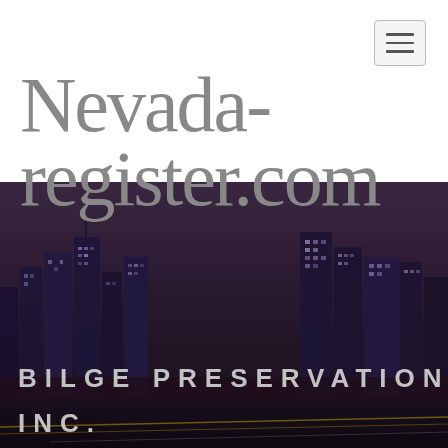[Figure (screenshot): Navigation menu hamburger button in top right corner]
Nevada-register.com
[Figure (photo): Nighttime city skyline with dark purple/maroon sky, illuminated skyscrapers]
BILGE PRESERVATION, INC.